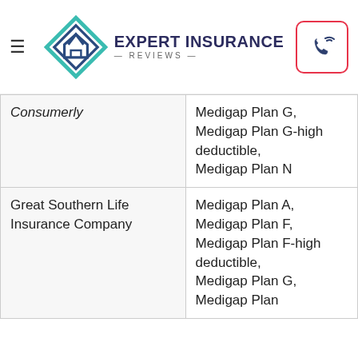Expert Insurance Reviews
| Company | Plans Available |
| --- | --- |
| Consumerly | Medigap Plan G, Medigap Plan G-high deductible, Medigap Plan N |
| Great Southern Life Insurance Company | Medigap Plan A, Medigap Plan F, Medigap Plan F-high deductible, Medigap Plan G, Medigap Plan... |